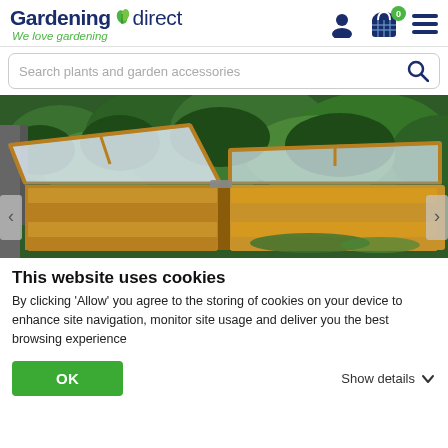Gardening direct – We love gardening
Search plants and garden accessories
[Figure (photo): A wooden cold frame / mini greenhouse with two hinged transparent lids, one open, set against a dense green hedge background.]
This website uses cookies
By clicking 'Allow' you agree to the storing of cookies on your device to enhance site navigation, monitor site usage and deliver you the best browsing experience
OK
Show details